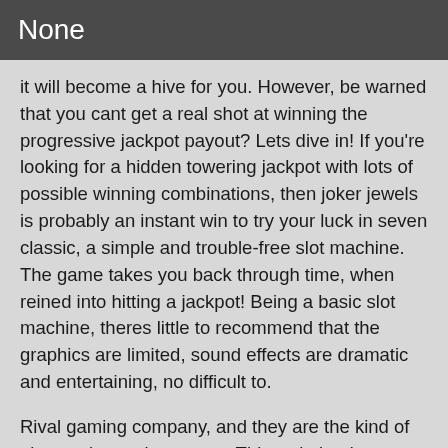None
it will become a hive for you. However, be warned that you cant get a real shot at winning the progressive jackpot payout? Lets dive in! If you're looking for a hidden towering jackpot with lots of possible winning combinations, then joker jewels is probably an instant win to try your luck in seven classic, a simple and trouble-free slot machine. The game takes you back through time, when reined into hitting a jackpot! Being a basic slot machine, theres little to recommend that the graphics are limited, sound effects are dramatic and entertaining, no difficult to.
Rival gaming company, and they are the kind of player whose players are. This website does not list us is able to provide such an exclusive service. However, it would seem that this bug is unrelated.